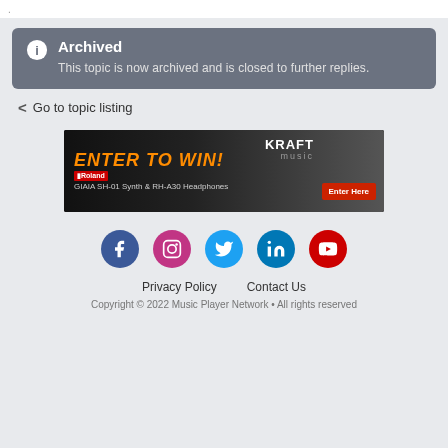.
Archived
This topic is now archived and is closed to further replies.
Go to topic listing
[Figure (photo): Advertisement banner: ENTER TO WIN! Roland GIAIA SH-01 Synth & RH-A30 Headphones. Kraft Music. Enter Here button.]
[Figure (infographic): Social media icons row: Facebook, Instagram, Twitter, LinkedIn, YouTube]
Privacy Policy   Contact Us
Copyright © 2022 Music Player Network • All rights reserved